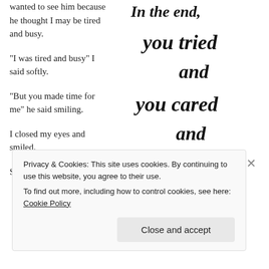wanted to see him because he thought I may be tired and busy.
"I was tired and busy" I said softly.
"But you made time for me" he said smiling.
I closed my eyes and smiled.
Siah. Busy.
[Figure (illustration): Handwritten script text reading: In the end, you tried and you cared and sometimes, that is]
Privacy & Cookies: This site uses cookies. By continuing to use this website, you agree to their use. To find out more, including how to control cookies, see here: Cookie Policy
Close and accept